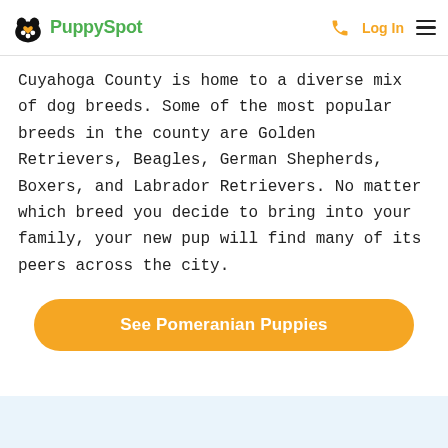PuppySpot | Log In
Cuyahoga County is home to a diverse mix of dog breeds. Some of the most popular breeds in the county are Golden Retrievers, Beagles, German Shepherds, Boxers, and Labrador Retrievers. No matter which breed you decide to bring into your family, your new pup will find many of its peers across the city.
See Pomeranian Puppies
Pomeranians Everywhere in